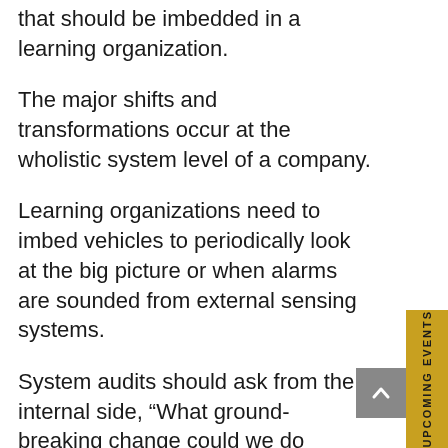that should be imbedded in a learning organization.
The major shifts and transformations occur at the wholistic system level of a company.
Learning organizations need to imbed vehicles to periodically look at the big picture or when alarms are sounded from external sensing systems.
System audits should ask from the internal side, “What ground-breaking change could we do differently that would have a magnitude improvement on our outcomes?”